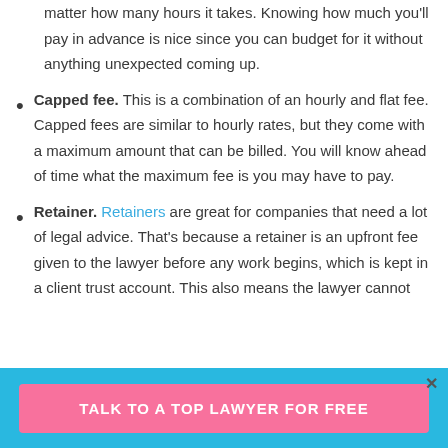matter how many hours it takes. Knowing how much you'll pay in advance is nice since you can budget for it without anything unexpected coming up.
Capped fee. This is a combination of an hourly and flat fee. Capped fees are similar to hourly rates, but they come with a maximum amount that can be billed. You will know ahead of time what the maximum fee is you may have to pay.
Retainer. Retainers are great for companies that need a lot of legal advice. That's because a retainer is an upfront fee given to the lawyer before any work begins, which is kept in a client trust account. This also means the lawyer cannot
TALK TO A TOP LAWYER FOR FREE